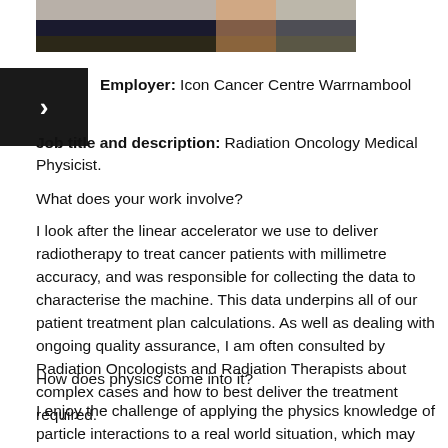[Figure (photo): Partial photo of a person at top of page, cropped view showing shoulders and floral clothing.]
Employer: Icon Cancer Centre Warrnambool
Job title and description: Radiation Oncology Medical Physicist.
What does your work involve?
I look after the linear accelerator we use to deliver radiotherapy to treat cancer patients with millimetre accuracy, and was responsible for collecting the data to characterise the machine. This data underpins all of our patient treatment plan calculations. As well as dealing with ongoing quality assurance, I am often consulted by Radiation Oncologists and Radiation Therapists about complex cases and how to best deliver the treatment required.
How does physics come into it?
I enjoy the challenge of applying the physics knowledge of particle interactions to a real world situation, which may